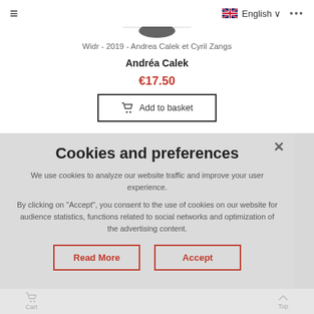≡  English ∨  •••
Widr - 2019 - Andrea Calek et Cyril Zangs
Andréa Calek
€17.50
Add to basket
Cookies and preferences
We use cookies to analyze our website traffic and improve your user experience.
By clicking on "Accept", you consent to the use of cookies on our website for audience statistics, functions related to social networks and optimization of the advertising content.
Read More
Accept
Cart    Top